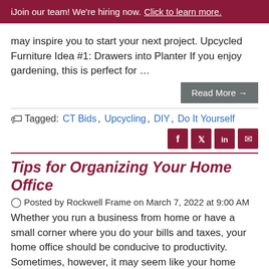ℹ Join our team! We're hiring now. Click to learn more.
may inspire you to start your next project. Upcycled Furniture Idea #1: Drawers into Planter If you enjoy gardening, this is perfect for …
Read More →
Tagged: CT Bids, Upcycling, DIY, Do It Yourself
[Figure (infographic): Social share icons: Facebook, Twitter, LinkedIn, Email]
Tips for Organizing Your Home Office
Posted by Rockwell Frame on March 7, 2022 at 9:00 AM
Whether you run a business from home or have a small corner where you do your bills and taxes, your home office should be conducive to productivity. Sometimes, however, it may seem like your home office is simply a giant clutter magnet. Here are some tips to help you organize your home office and keep